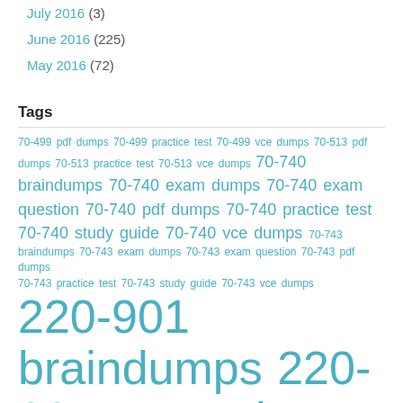July 2016 (3)
June 2016 (225)
May 2016 (72)
Tags
70-499 pdf dumps 70-499 practice test 70-499 vce dumps 70-513 pdf dumps 70-513 practice test 70-513 vce dumps 70-740 braindumps 70-740 exam dumps 70-740 exam question 70-740 pdf dumps 70-740 practice test 70-740 study guide 70-740 vce dumps 70-743 braindumps 70-743 exam dumps 70-743 exam question 70-743 pdf dumps 70-743 practice test 70-743 study guide 70-743 vce dumps 220-901 braindumps 220-901 exam dumps 220-901 exam question 220-901 pdf dumps 220-901 practice test